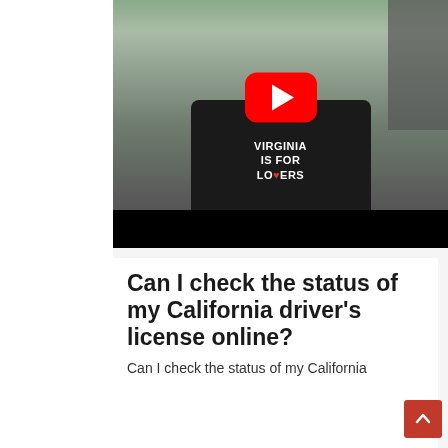[Figure (screenshot): YouTube video thumbnail showing a Black woman wearing a 'Virginia is for Lovers' t-shirt standing in front of what appears to be a DMV building. A large red YouTube play button is overlaid in the center of the image. The bottom portion of the video player is a black bar.]
Can I check the status of my California driver's license online?
Can I check the status of my California